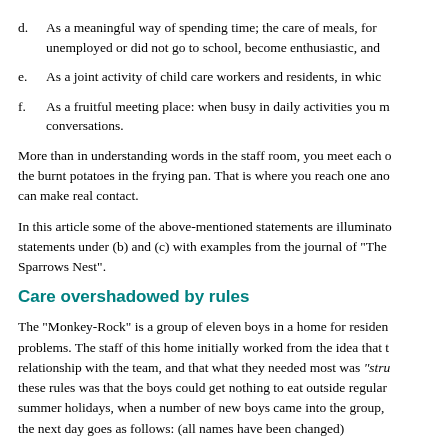d. As a meaningful way of spending time; the care of meals, for unemployed or did not go to school, become enthusiastic, and
e. As a joint activity of child care workers and residents, in whic
f. As a fruitful meeting place: when busy in daily activities you conversations.
More than in understanding words in the staff room, you meet each the burnt potatoes in the frying pan. That is where you reach one ano can make real contact.
In this article some of the above-mentioned statements are illuminate statements under (b) and (c) with examples from the journal of "The Sparrows Nest".
Care overshadowed by rules
The "Monkey-Rock" is a group of eleven boys in a home for residen problems. The staff of this home initially worked from the idea that relationship with the team, and that what they needed most was "stru these rules was that the boys could get nothing to eat outside regular summer holidays, when a number of new boys came into the group, the next day goes as follows: (all names have been changed)